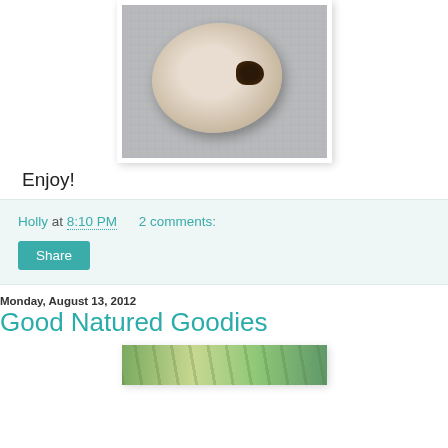[Figure (photo): Close-up photo of a baked pastry or cookie on a textured metallic/grid surface, with a dark chocolate or dark filling visible on one side]
Enjoy!
Holly at 8:10 PM   2 comments:
Share
Monday, August 13, 2012
Good Natured Goodies
[Figure (photo): Partial photo of food items with green herbs or vegetables visible at bottom of page]